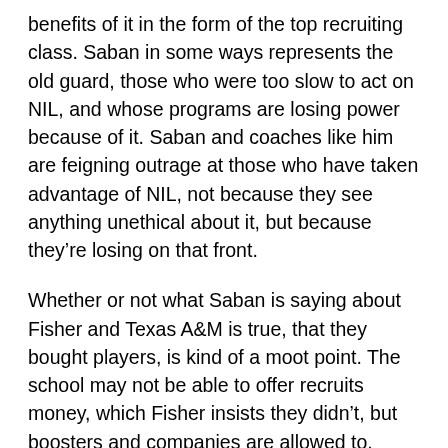benefits of it in the form of the top recruiting class. Saban in some ways represents the old guard, those who were too slow to act on NIL, and whose programs are losing power because of it. Saban and coaches like him are feigning outrage at those who have taken advantage of NIL, not because they see anything unethical about it, but because they're losing on that front.
Whether or not what Saban is saying about Fisher and Texas A&M is true, that they bought players, is kind of a moot point. The school may not be able to offer recruits money, which Fisher insists they didn't, but boosters and companies are allowed to. That's just how things are now, and it's not going to change back.
The truth is that college football programs have always bought players, even if they couldn't offer them sums of